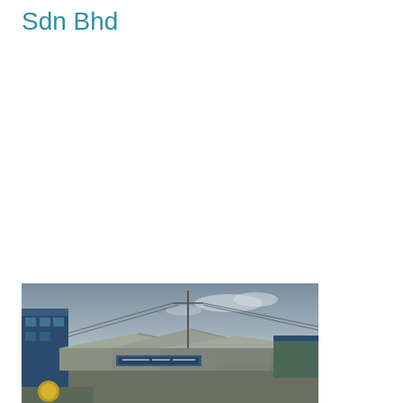Sdn Bhd
[Figure (photo): Exterior photograph of an industrial or commercial building complex with warehouse-style roofing, a power/utility pole with wires, overcast grey sky, and a blue-accented building facade visible on the left side.]